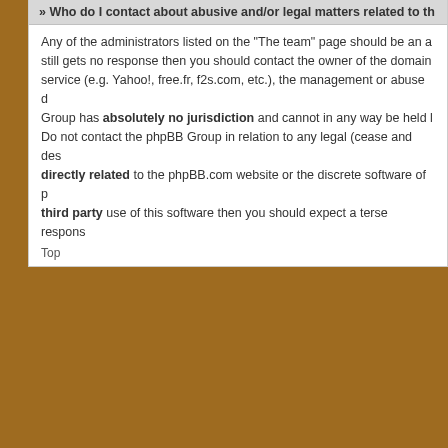» Who do I contact about abusive and/or legal matters related to this board?
Any of the administrators listed on the "The team" page should be an appropriate point of contact for your complaints. If this still gets no response then you should contact the owner of the domain (do a whois lookup) or, if this is running on a free service (e.g. Yahoo!, free.fr, f2s.com, etc.), the management or abuse department of that service. Please note that the phpBB Group has absolutely no jurisdiction and cannot in any way be held liable over how, where or by whom this board is used. Do not contact the phpBB Group in relation to any legal (cease and desist, liable, defamatory comment, etc.) matter not directly related to the phpBB.com website or the discrete software of phpBB itself. If you do email phpBB Group about any third party use of this software then you should expect a terse response or no response at all.
Top
Board index
Theme designed by stylerbb.
Powered by phpBB © 2000, 2002, 2005, 2007 phpBB Group
All times are UTC - 5 hours [ DST ]
[Figure (infographic): Kindle Books advertisement banner with book covers and text 'Kindle Books - Choose from over 1 million Kindle books']